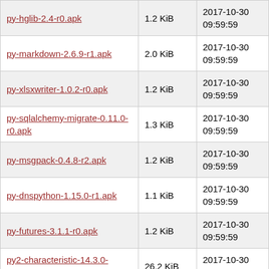| py-hglib-2.4-r0.apk | 1.2 KiB | 2017-10-30 09:59:59 |
| py-markdown-2.6.9-r1.apk | 2.0 KiB | 2017-10-30 09:59:59 |
| py-xlsxwriter-1.0.2-r0.apk | 1.2 KiB | 2017-10-30 09:59:59 |
| py-sqlalchemy-migrate-0.11.0-r0.apk | 1.3 KiB | 2017-10-30 09:59:59 |
| py-msgpack-0.4.8-r2.apk | 1.2 KiB | 2017-10-30 09:59:59 |
| py-dnspython-1.15.0-r1.apk | 1.1 KiB | 2017-10-30 09:59:59 |
| py-futures-3.1.1-r0.apk | 1.2 KiB | 2017-10-30 09:59:59 |
| py2-characteristic-14.3.0-r3.apk | 26.2 KiB | 2017-10-30 09:59:59 |
| py2-ruffus-2.6.3-r0.apk | 214.3 KiB | 2017-10-30 10:00:00 |
| py2-packaging-16.8-r2.apk | 35.9 KiB | 2017-10-30 10:00:00 |
| py2-pysqlite-2.8.3-r1.apk | 90.0 KiB | 2017-10-30 10:00:00 |